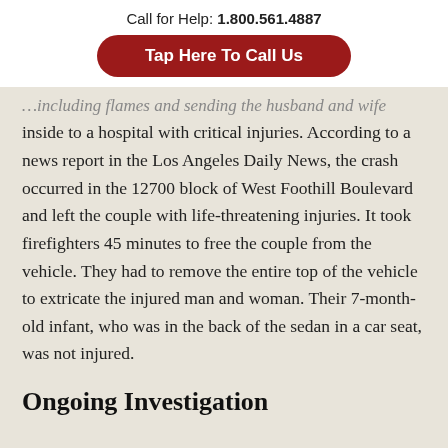Call for Help: 1.800.561.4887
Tap Here To Call Us
…including flames and sending the husband and wife inside to a hospital with critical injuries. According to a news report in the Los Angeles Daily News, the crash occurred in the 12700 block of West Foothill Boulevard and left the couple with life-threatening injuries. It took firefighters 45 minutes to free the couple from the vehicle. They had to remove the entire top of the vehicle to extricate the injured man and woman. Their 7-month-old infant, who was in the back of the sedan in a car seat, was not injured.
Ongoing Investigation